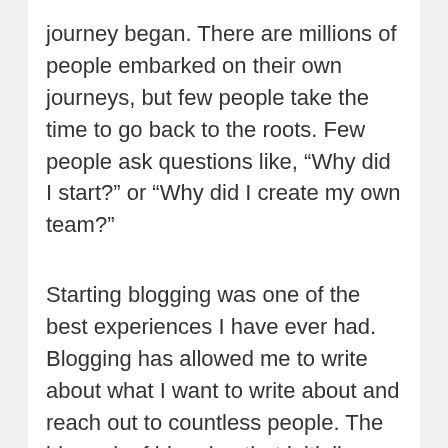journey began. There are millions of people embarked on their own journeys, but few people take the time to go back to the roots. Few people ask questions like, “Why did I start?” or “Why did I create my own team?”
Starting blogging was one of the best experiences I have ever had. Blogging has allowed me to write about what I want to write about and reach out to countless people. The big perk of blogging that initially attracted me was the ability to do what you love at home while making a profit. I never had plans at any point in my life of what job or career I would pursue. The only thing I know is that it was going to be a lot of fun.